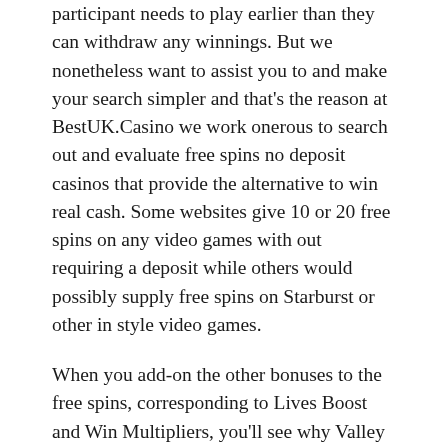participant needs to play earlier than they can withdraw any winnings. But we nonetheless want to assist you to and make your search simpler and that's the reason at BestUK.Casino we work onerous to search out and evaluate free spins no deposit casinos that provide the alternative to win real cash. Some websites give 10 or 20 free spins on any video games with out requiring a deposit while others would possibly supply free spins on Starburst or other in style video games.
When you add-on the other bonuses to the free spins, corresponding to Lives Boost and Win Multipliers, you'll see why Valley of The Gods is a favourite for thousands of slot players. Check out the the complete Valley of The Gods slot review and we'll present you where to play it on the prime free spin casinos. No-deposit bonuses, give your free spins just for signing-up – however tend to be rarer than free spins from a deposit.